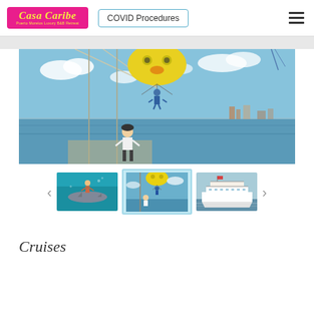[Figure (logo): Casa Caribe logo - pink/magenta background with yellow italic text]
COVID Procedures
[Figure (photo): Main large photo: parasailing scene - man in blue harness flying under yellow parachute, operator in white shirt watching from boat deck, ocean and city skyline in background]
[Figure (photo): Thumbnail 1: underwater photo showing person swimming with a shark in turquoise water]
[Figure (photo): Thumbnail 2 (active/selected): parasailing scene same as main image - operator on boat watching parasailer under yellow parachute]
[Figure (photo): Thumbnail 3: large tourist cruise boat/yacht with multiple decks on calm water]
Cruises